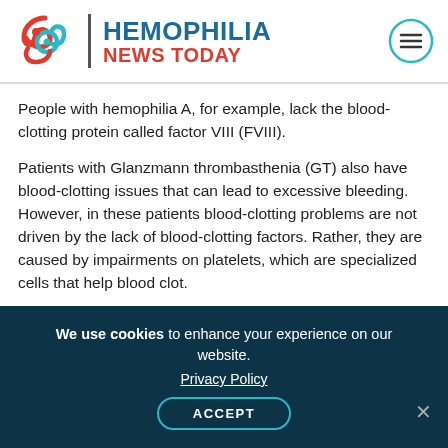HEMOPHILIA NEWS TODAY
People with hemophilia A, for example, lack the blood-clotting protein called factor VIII (FVIII).
Patients with Glanzmann thrombasthenia (GT) also have blood-clotting issues that can lead to excessive bleeding. However, in these patients blood-clotting problems are not driven by the lack of blood-clotting factors. Rather, they are caused by impairments on platelets, which are specialized cells that help blood clot.
MarzAA is a lab-made, under-the-skin injectable version of the blood-clotting factor VIIa (FVIIa)
We use cookies to enhance your experience on our website. Privacy Policy ACCEPT